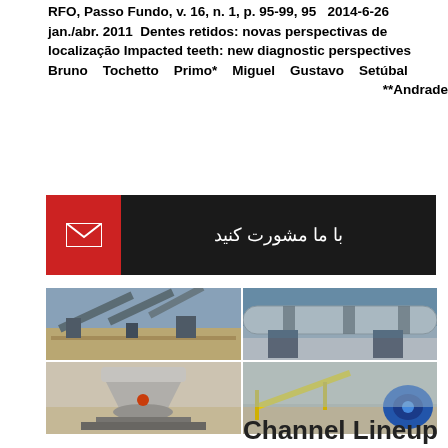RFO, Passo Fundo, v. 16, n. 1, p. 95-99, 95 2014-6-26 jan./abr. 2011 Dentes retidos: novas perspectivas de localização Impacted teeth: new diagnostic perspectives Bruno Tochetto Primo* Miguel Gustavo Setúbal **Andrade
[Figure (infographic): Dark banner with red icon section on left showing envelope icon, and Persian/Arabic text 'با ما مشورت کنید' on right side]
[Figure (photo): Four industrial/mining site photos arranged in 2x2 grid showing conveyor belts, rotary kilns, cone crushers, and screening equipment. A Live Chat bubble overlay appears top-right of grid.]
Channel Lineup